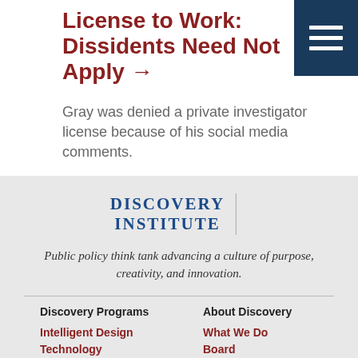License to Work: Dissidents Need Not Apply →
Gray was denied a private investigator license because of his social media comments.
[Figure (logo): Discovery Institute logo with text 'DISCOVERY INSTITUTE' and a vertical divider line]
Public policy think tank advancing a culture of purpose, creativity, and innovation.
Discovery Programs
About Discovery
Intelligent Design
What We Do
Technology
Board